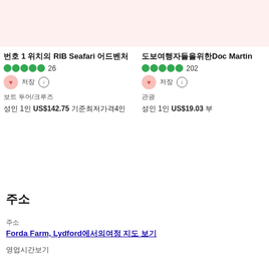[Figure (photo): Product/listing image placeholder - pinkish background, left card]
번호 1 위치의 RIB Seafari 어드벤처
●●●●● 26
♥ 저장 ⓘ
보트 투어/크루즈
성인 1인 US$142.75 기준최저가격4인
[Figure (photo): Product/listing image placeholder - pinkish background, right card]
도보여행자들을위한Doc Martin의 성지
●●●●● 202
♥ 저장 ⓘ
관광
성인 1인 US$19.03 부
주소
주소
Forda Farm, Lydford에서의여정 지도 보기
영업시간보기